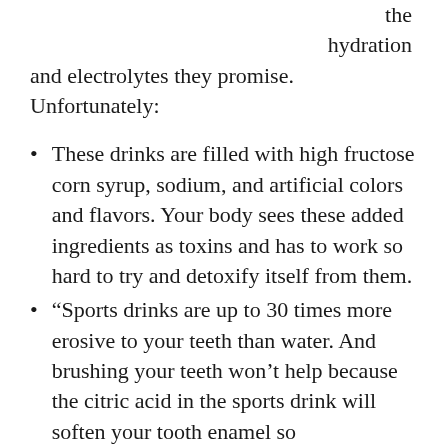the hydration and electrolytes they promise. Unfortunately:
These drinks are filled with high fructose corn syrup, sodium, and artificial colors and flavors. Your body sees these added ingredients as toxins and has to work so hard to try and detoxify itself from them.
“Sports drinks are up to 30 times more erosive to your teeth than water. And brushing your teeth won’t help because the citric acid in the sports drink will soften your tooth enamel so